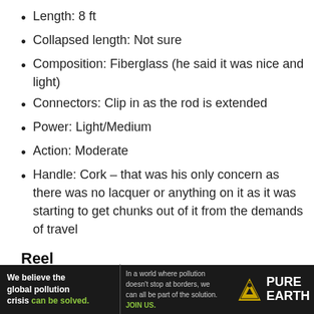Length: 8 ft
Collapsed length: Not sure
Composition: Fiberglass (he said it was nice and light)
Connectors: Clip in as the rod is extended
Power: Light/Medium
Action: Moderate
Handle: Cork – that was his only concern as there was no lacquer or anything on it as it was starting to get chunks out of it from the demands of travel
Reel
Size: 5000
[Figure (other): Video player overlay with message: No compatible source was found for this media.]
[Figure (other): Advertisement banner for Pure Earth: 'We believe the global pollution crisis can be solved.' with Pure Earth logo.]